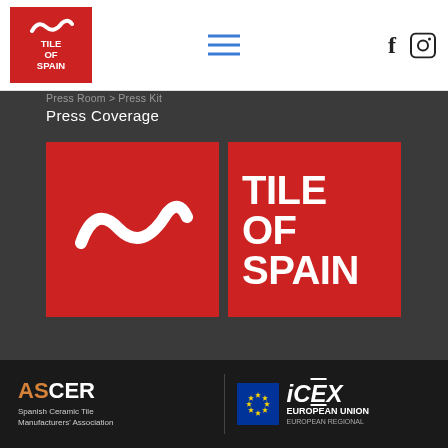Tile of Spain — navigation header with logo, hamburger menu, Facebook and Instagram icons
Press Coverage
[Figure (logo): Tile of Spain logo: two red squares side by side — left has white tilde/wave symbol, right has white bold text TILE OF SPAIN]
ASCER Spanish Ceramic Tile Manufacturers' Association | iCEX European Union European Regional